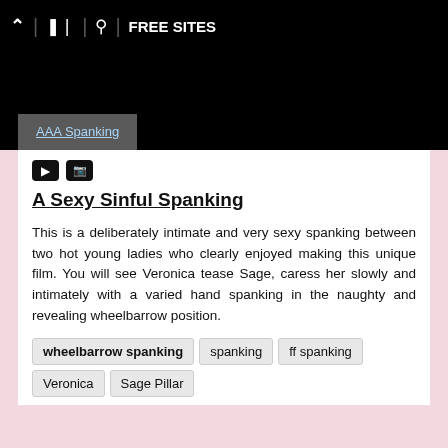^ | share | search | FREE SITES
[Figure (screenshot): Black banner area with site thumbnail]
AAA Spanking
[Figure (other): Video and camera icons]
A Sexy Sinful Spanking
This is a deliberately intimate and very sexy spanking between two hot young ladies who clearly enjoyed making this unique film. You will see Veronica tease Sage, caress her slowly and intimately with a varied hand spanking in the naughty and revealing wheelbarrow position.
wheelbarrow spanking
spanking
ff spanking
Veronica
Sage Pillar